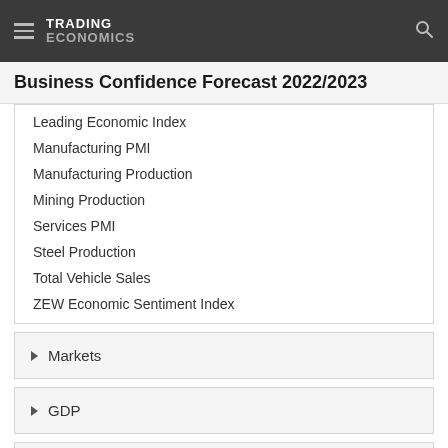TRADING ECONOMICS
Business Confidence Forecast 2022/2023
Leading Economic Index
Manufacturing PMI
Manufacturing Production
Mining Production
Services PMI
Steel Production
Total Vehicle Sales
ZEW Economic Sentiment Index
Markets
GDP
Labour
Prices